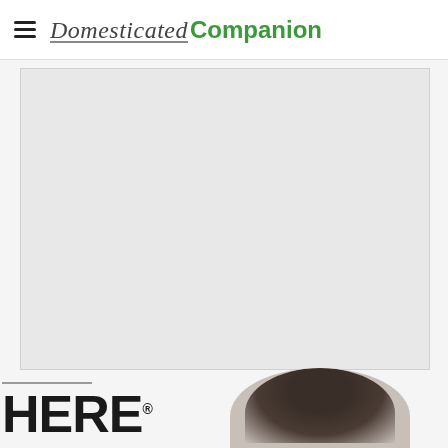Domesticated Companion
[Figure (photo): Large gray placeholder image area]
[Figure (photo): Partial view of a man's head from below, showing dark hair, at the bottom right of the page]
HERE